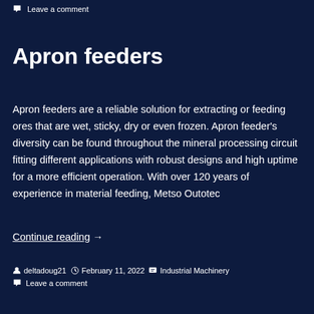Leave a comment
Apron feeders
Apron feeders are a reliable solution for extracting or feeding ores that are wet, sticky, dry or even frozen. Apron feeder's diversity can be found throughout the mineral processing circuit fitting different applications with robust designs and high uptime for a more efficient operation. With over 120 years of experience in material feeding, Metso Outotec
Continue reading  →
deltadoug21  February 11, 2022  Industrial Machinery  Leave a comment